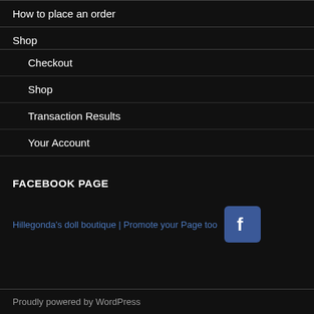How to place an order
Shop
Checkout
Shop
Transaction Results
Your Account
FACEBOOK PAGE
Hillegonda's doll boutique | Promote your Page too
Proudly powered by WordPress